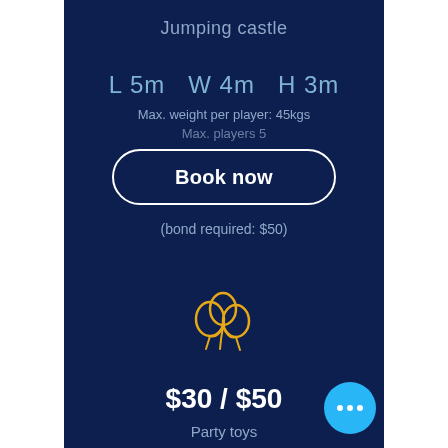Jumping castle
L 5m  W 4m  H 3m
Max. weight per player: 45kgs
Max. players 5
Book now
(bond required: $50)
[Figure (illustration): Three balloons icon in yellow/gold color outline style]
$30 / $50
Party toys